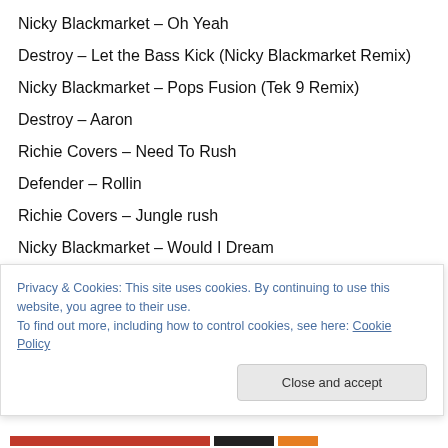Nicky Blackmarket – Oh Yeah
Destroy – Let the Bass Kick (Nicky Blackmarket Remix)
Nicky Blackmarket – Pops Fusion (Tek 9 Remix)
Destroy – Aaron
Richie Covers – Need To Rush
Defender – Rollin
Richie Covers – Jungle rush
Nicky Blackmarket – Would I Dream
DJ E Logic feat Defender – More Control
Defender – Feel It (Bass)
Richie Covers – Richies Dream
Privacy & Cookies: This site uses cookies. By continuing to use this website, you agree to their use.
To find out more, including how to control cookies, see here: Cookie Policy